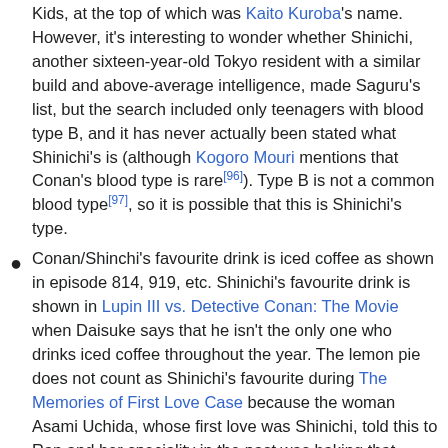Kids, at the top of which was Kaito Kuroba's name. However, it's interesting to wonder whether Shinichi, another sixteen-year-old Tokyo resident with a similar build and above-average intelligence, made Saguru's list, but the search included only teenagers with blood type B, and it has never actually been stated what Shinichi's is (although Kogoro Mouri mentions that Conan's blood type is rare[96]). Type B is not a common blood type[97], so it is possible that this is Shinichi's type.
Conan/Shinchi's favourite drink is iced coffee as shown in episode 814, 919, etc. Shinichi's favourite drink is shown in Lupin III vs. Detective Conan: The Movie when Daisuke says that he isn't the only one who drinks iced coffee throughout the year. The lemon pie does not count as Shinichi's favourite during The Memories of First Love Case because the woman Asami Uchida, whose first love was Shinichi, told this to Ran and her speciality in the past was baking that same lemon pie that she finally perfected so Shinichi will tell her that the pie was delicious. Unless Gosho Aoyama said otherwise, the lemon pie may not be Shinichi's favourite and it was only